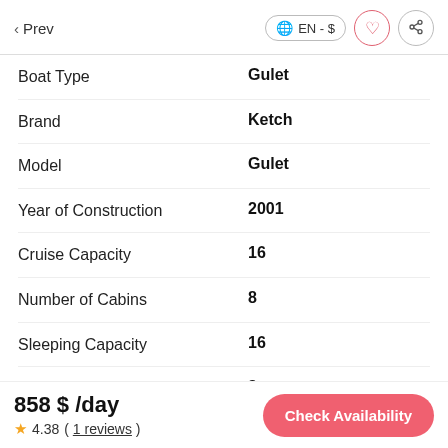< Prev  EN - $
| Attribute | Value |
| --- | --- |
| Boat Type | Gulet |
| Brand | Ketch |
| Model | Gulet |
| Year of Construction | 2001 |
| Cruise Capacity | 16 |
| Number of Cabins | 8 |
| Sleeping Capacity | 16 |
| Number of Guest Bathroom | 8 |
| Number of Guest | 8 |
858 $ /day
4.38 ( 1 reviews )